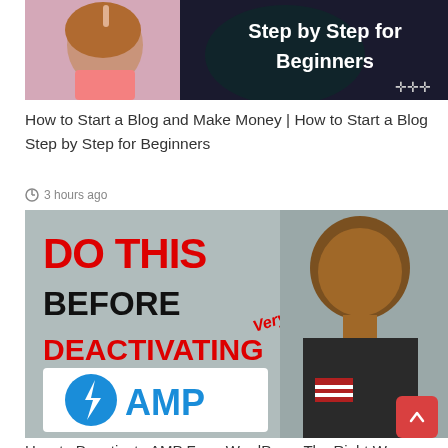[Figure (screenshot): Thumbnail image showing a woman with finger raised and text 'Step by Step for Beginners' on dark background]
How to Start a Blog and Make Money | How to Start a Blog Step by Step for Beginners
3 hours ago
[Figure (screenshot): Thumbnail image with red text 'DO THIS BEFORE DEACTIVATING' and AMP logo, man in background, 'Very Important' text]
How to Deactivate AMP From WordPress The Right Way